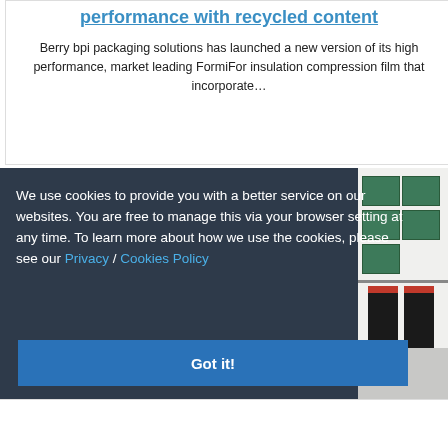performance with recycled content
Berry bpi packaging solutions has launched a new version of its high performance, market leading FormiFor insulation compression film that incorporate…
We use cookies to provide you with a better service on our websites. You are free to manage this via your browser setting at any time. To learn more about how we use the cookies, please see our Privacy / Cookies Policy
[Figure (photo): Shelves with green packaged products and dark canisters with red labels]
Got it!